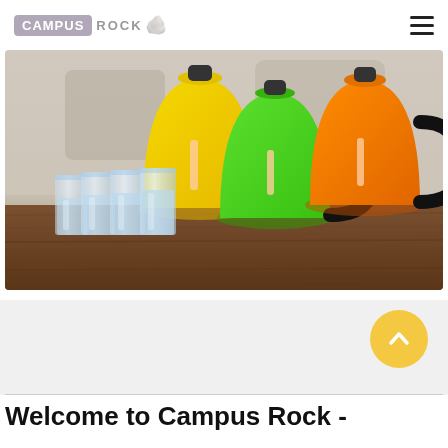CAMPUS ROCK
[Figure (photo): Colorful electric kettles (yellow, green, orange) with black handles and water level windows, alongside four clear drinking glasses filled with water, arranged on a wooden surface with a blurred kitchen background.]
Welcome to Campus Rock -